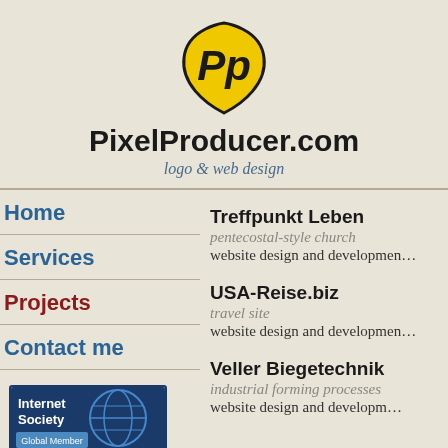[Figure (logo): PixelProducer.com logo: yellow shield with black 'Pp' letters]
PixelProducer.com
logo & web design
Home
Services
Projects
Contact me
[Figure (logo): Internet Society Global Member badge]
[Figure (logo): OVH.COM Community Partner Web badge]
Treffpunkt Leben
pentecostal-style church
website design and development
USA-Reise.biz
travel site
website design and development
Veller Biegetechnik
industrial forming processes
website design and development